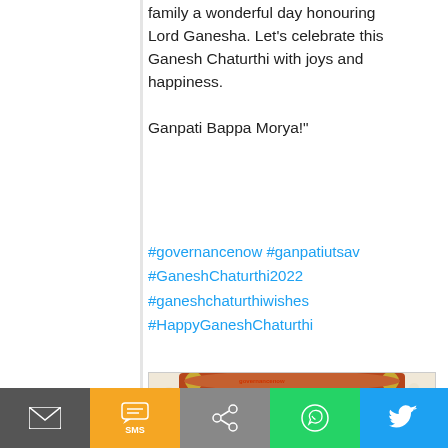family a wonderful day honouring Lord Ganesha. Let's celebrate this Ganesh Chaturthi with joys and happiness.

Ganpati Bappa Morya!"
#governancenow #ganpatiutsav #GaneshChaturthi2022 #ganeshchaturthiwishes #HappyGaneshChaturthi
[Figure (illustration): Happy Ganesh Chaturthi greeting card with an orange scroll banner, green mango leaves, and a dark statue of Lord Ganesha. Text reads HAPPY GANESH CHATURTHI.]
Kailash Adhikari and 9 others
Email | SMS | Share | WhatsApp | Twitter